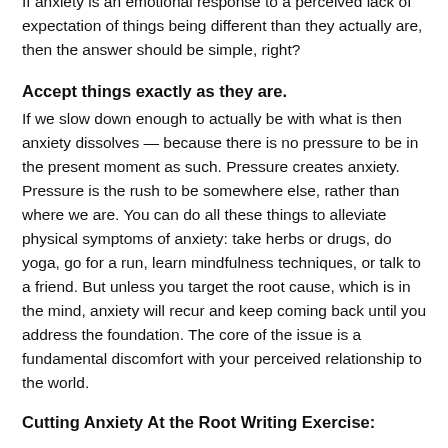If anxiety is an emotional response to a perceived lack of expectation of things being different than they actually are, then the answer should be simple, right?
Accept things exactly as they are.
If we slow down enough to actually be with what is then anxiety dissolves — because there is no pressure to be in the present moment as such. Pressure creates anxiety. Pressure is the rush to be somewhere else, rather than where we are. You can do all these things to alleviate physical symptoms of anxiety: take herbs or drugs, do yoga, go for a run, learn mindfulness techniques, or talk to a friend. But unless you target the root cause, which is in the mind, anxiety will recur and keep coming back until you address the foundation. The core of the issue is a fundamental discomfort with your perceived relationship to the world.
Cutting Anxiety At the Root Writing Exercise: